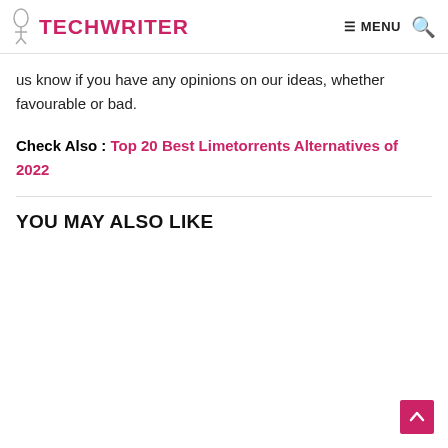TECHWRITER — MENU (search icon)
us know if you have any opinions on our ideas, whether favourable or bad.
Check Also : Top 20 Best Limetorrents Alternatives of 2022
YOU MAY ALSO LIKE